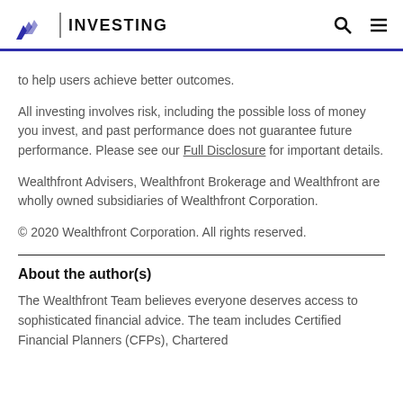INVESTING
to help users achieve better outcomes.
All investing involves risk, including the possible loss of money you invest, and past performance does not guarantee future performance. Please see our Full Disclosure for important details.
Wealthfront Advisers, Wealthfront Brokerage and Wealthfront are wholly owned subsidiaries of Wealthfront Corporation.
© 2020 Wealthfront Corporation. All rights reserved.
About the author(s)
The Wealthfront Team believes everyone deserves access to sophisticated financial advice. The team includes Certified Financial Planners (CFPs), Chartered